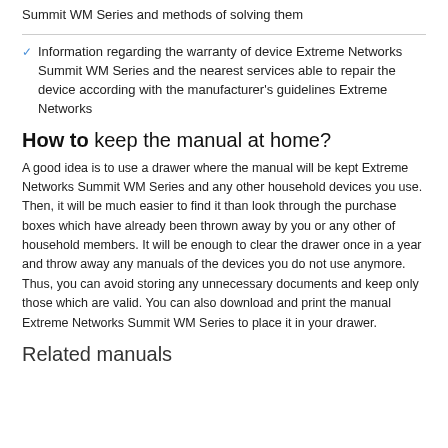Summit WM Series and methods of solving them
Information regarding the warranty of device Extreme Networks Summit WM Series and the nearest services able to repair the device according with the manufacturer's guidelines Extreme Networks
How to keep the manual at home?
A good idea is to use a drawer where the manual will be kept Extreme Networks Summit WM Series and any other household devices you use. Then, it will be much easier to find it than look through the purchase boxes which have already been thrown away by you or any other of household members. It will be enough to clear the drawer once in a year and throw away any manuals of the devices you do not use anymore. Thus, you can avoid storing any unnecessary documents and keep only those which are valid. You can also download and print the manual Extreme Networks Summit WM Series to place it in your drawer.
Related manuals